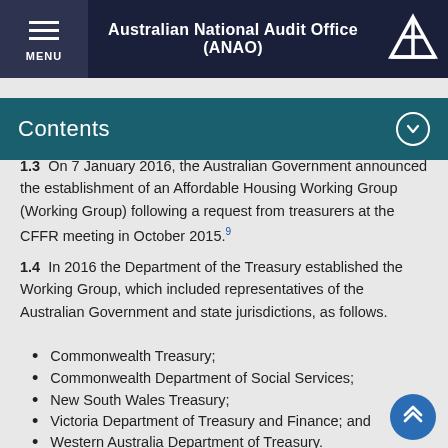Australian National Audit Office (ANAO)
Contents
1.3    On 7 January 2016, the Australian Government announced the establishment of an Affordable Housing Working Group (Working Group) following a request from treasurers at the CFFR meeting in October 2015.⁹
1.4    In 2016 the Department of the Treasury established the Working Group, which included representatives of the Australian Government and state jurisdictions, as follows.
Commonwealth Treasury;
Commonwealth Department of Social Services;
New South Wales Treasury;
Victoria Department of Treasury and Finance; and
Western Australia Department of Treasury.